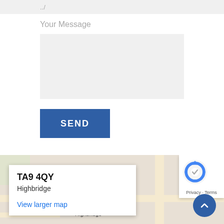../
Your Message
[Figure (screenshot): Blue SEND button]
[Figure (map): Google Maps embedded map showing TA9 4QY Highbridge area with info box showing postcode TA9 4QY and town Highbridge, a View larger map link, and reCAPTCHA badge with Privacy and Terms links. A blue scroll-to-top button is visible in the bottom right.]